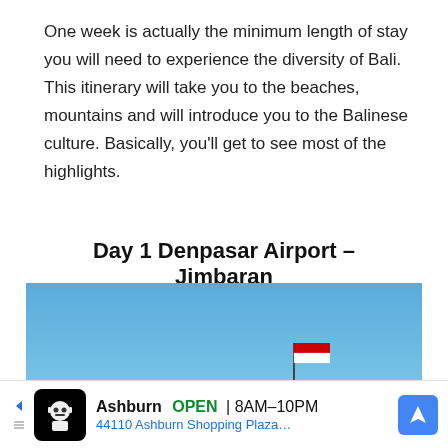One week is actually the minimum length of stay you will need to experience the diversity of Bali. This itinerary will take you to the beaches, mountains and will introduce you to the Balinese culture. Basically, you'll get to see most of the highlights.
Day 1 Denpasar Airport – Jimbaran
[Figure (photo): A beach scene with a clear blue sky, a flagpole with a red and white flag, turquoise ocean water, white sandy beach, and a green hillside in the background.]
Ashburn OPEN | 8AM–10PM 44110 Ashburn Shopping Plaza...